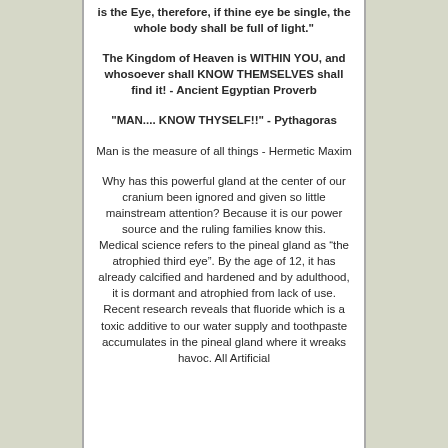is the Eye, therefore, if thine eye be single, the whole body shall be full of light."
The Kingdom of Heaven is WITHIN YOU, and whosoever shall KNOW THEMSELVES shall find it! - Ancient Egyptian Proverb
"MAN.... KNOW THYSELF!!" - Pythagoras
Man is the measure of all things - Hermetic Maxim
Why has this powerful gland at the center of our cranium been ignored and given so little mainstream attention? Because it is our power source and the ruling families know this. Medical science refers to the pineal gland as “the atrophied third eye”. By the age of 12, it has already calcified and hardened and by adulthood, it is dormant and atrophied from lack of use. Recent research reveals that fluoride which is a toxic additive to our water supply and toothpaste accumulates in the pineal gland where it wreaks havoc. All Artificial